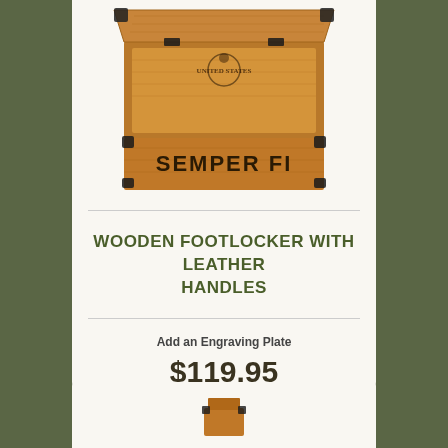[Figure (photo): Wooden footlocker box open, with 'SEMPER FI' text on the front panel and United States Marine Corps emblem on the lid, metal corner hardware, displayed on white background.]
WOODEN FOOTLOCKER WITH LEATHER HANDLES
Add an Engraving Plate
$119.95
[Figure (photo): Partial view of another wooden product at the bottom of the page.]